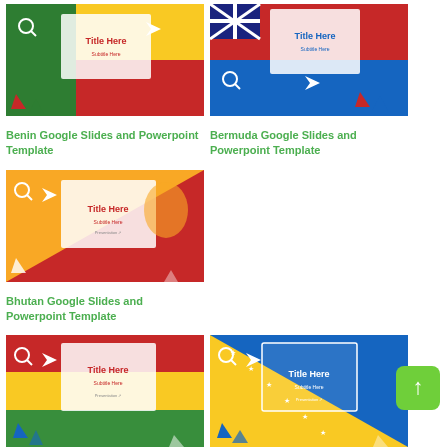[Figure (screenshot): Benin Google Slides and Powerpoint Template thumbnail - colorful flag design]
Benin Google Slides and Powerpoint Template
[Figure (screenshot): Bermuda Google Slides and Powerpoint Template thumbnail - flag design with red/blue/white]
Bermuda Google Slides and Powerpoint Template
[Figure (screenshot): Bhutan Google Slides and Powerpoint Template thumbnail - orange/yellow/red flag design with dragon]
Bhutan Google Slides and Powerpoint Template
[Figure (screenshot): Bolivia Google Slides and Powerpoint Template thumbnail - red/yellow/green flag design]
Bolivia Google Slides and Powerpoint Template
[Figure (screenshot): Bosnia And Herzegovina Google Slides and Powerpoint Template thumbnail - blue with stars flag design]
Bosnia And Herzegovina Google Slides and Powerpoint Template
[Figure (screenshot): Partially visible thumbnail at bottom - dark/black and blue slide design]